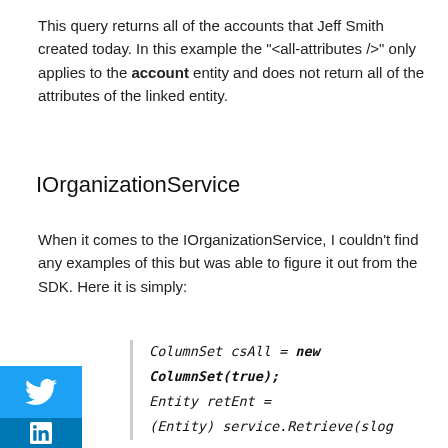This query returns all of the accounts that Jeff Smith created today. In this example the "<all-attributes />" only applies to the account entity and does not return all of the attributes of the linked entity.
IOrganizationService
When it comes to the IOrganizationService, I couldn't find any examples of this but was able to figure it out from the SDK. Here it is simply: